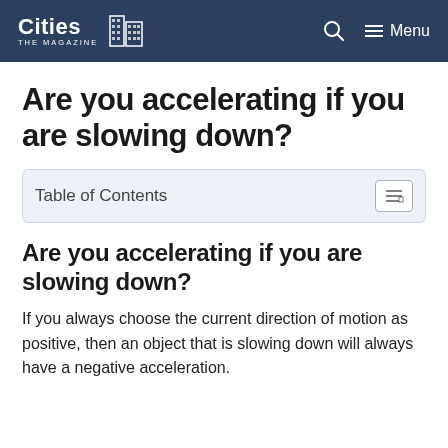Cities THE MAGAZINE | Menu
Are you accelerating if you are slowing down?
| Table of Contents |
| --- |
Are you accelerating if you are slowing down?
If you always choose the current direction of motion as positive, then an object that is slowing down will always have a negative acceleration.